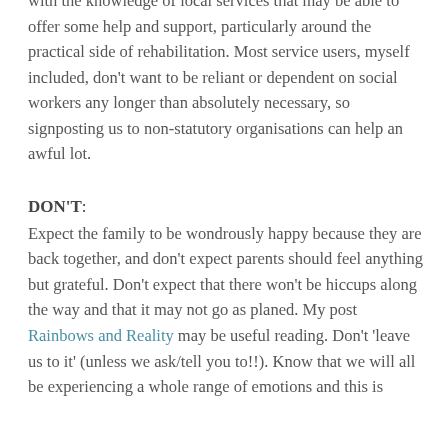with the knowledge of local services that may be able to offer some help and support, particularly around the practical side of rehabilitation. Most service users, myself included, don't want to be reliant or dependent on social workers any longer than absolutely necessary, so signposting us to non-statutory organisations can help an awful lot.
DON'T:
Expect the family to be wondrously happy because they are back together, and don't expect parents should feel anything but grateful. Don't expect that there won't be hiccups along the way and that it may not go as planed. My post Rainbows and Reality may be useful reading. Don't 'leave us to it' (unless we ask/tell you to!!). Know that we will all be experiencing a whole range of emotions and this is